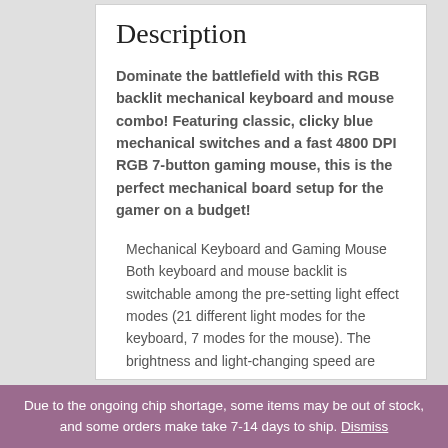Description
Dominate the battlefield with this RGB backlit mechanical keyboard and mouse combo! Featuring classic, clicky blue mechanical switches and a fast 4800 DPI RGB 7-button gaming mouse, this is the perfect mechanical board setup for the gamer on a budget!
Mechanical Keyboard and Gaming Mouse Both keyboard and mouse backlit is switchable among the pre-setting light effect modes (21 different light modes for the keyboard, 7 modes for the mouse). The brightness and light-changing speed are
Due to the ongoing chip shortage, some items may be out of stock, and some orders make take 7-14 days to ship. Dismiss